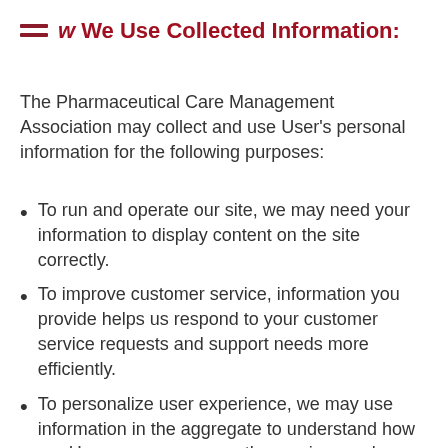w We Use Collected Information:
The Pharmaceutical Care Management Association may collect and use User's personal information for the following purposes:
To run and operate our site, we may need your information to display content on the site correctly.
To improve customer service, information you provide helps us respond to your customer service requests and support needs more efficiently.
To personalize user experience, we may use information in the aggregate to understand how our Users as a group use the services and resources provided on our site.